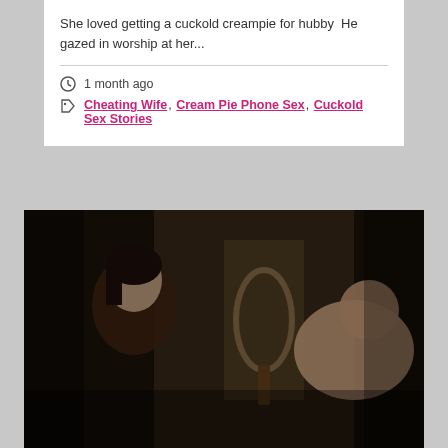She loved getting a cuckold creampie for hubby  He gazed in worship at her...
1 month ago
Cheating Wife, Cream Pie Phone Sex, Cuckold Sex Stories
[Figure (photo): Dark indoor photo of two people on a bed, a woman with dark hair looking toward camera and a man facing away, with a mirror in the background]